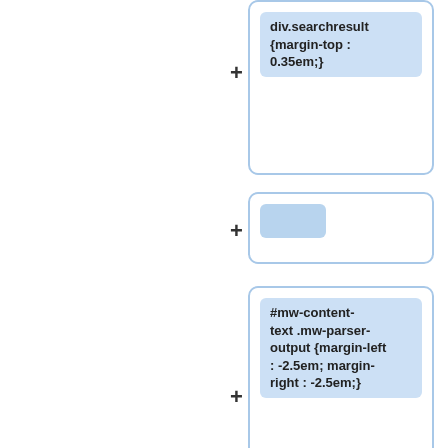[Figure (screenshot): A vertical tree/list UI showing CSS code entries in blue rounded boxes. Each entry has a + expand button to the left. Entries include: 'div.searchresult {margin-top : 0.35em;}', a blank entry, '#mw-content-text .mw-parser-output {margin-left : -2.5em; margin-right : -2.5em;}', '#mw-content-text .mw-parser-output > div {box-sizing : border-box; padding : 0 2.5em;}', and two partially visible boxes at bottom.]